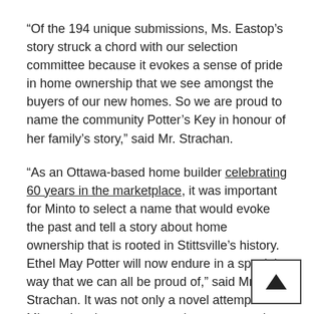“Of the 194 unique submissions, Ms. Eastop’s story struck a chord with our selection committee because it evokes a sense of pride in home ownership that we see amongst the buyers of our new homes. So we are proud to name the community Potter’s Key in honour of her family’s story,” said Mr. Strachan.
“As an Ottawa-based home builder celebrating 60 years in the marketplace, it was important for Minto to select a name that would evoke the past and tell a story about home ownership that is rooted in Stittsville’s history. Ethel May Potter will now endure in a special way that we can all be proud of,” said Mr. Strachan. It was not only a novel attempt for Minto when it comes to naming a community but Patrick Meeds, industry analyst of PMA Brethour Reality, also believed it to be the first time for the city.